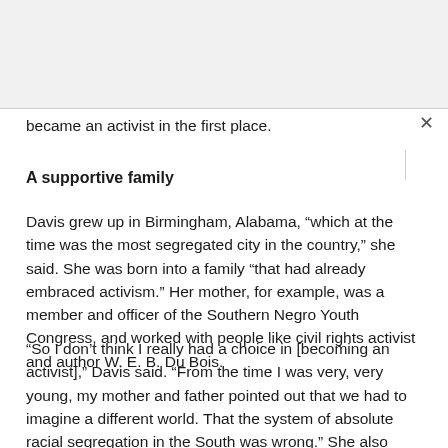became an activist in the first place.
A supportive family
Davis grew up in Birmingham, Alabama, “which at the time was the most segregated city in the country,” she said. She was born into a family “that had already embraced activism.” Her mother, for example, was a member and officer of the Southern Negro Youth Congress, and worked with people like civil rights activist and author W. E. B. Du Bois.
“So I don’t think I really had a choice in [becoming an activist],” Davis said. “From the time I was very, very young, my mother and father pointed out that we had to imagine a different world. That the system of absolute racial segregation in the South was wrong.” She also learned from her mother to “think about possibilities of change, and to always be hopeful. Because